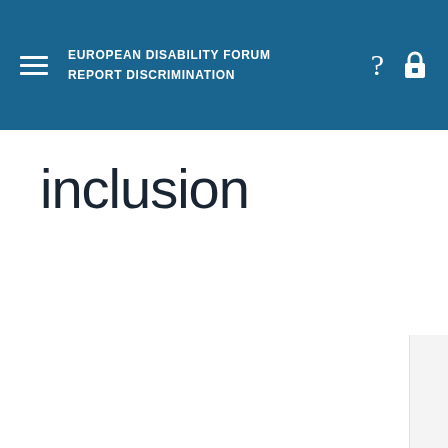EUROPEAN DISABILITY FORUM REPORT DISCRIMINATION
inclusion